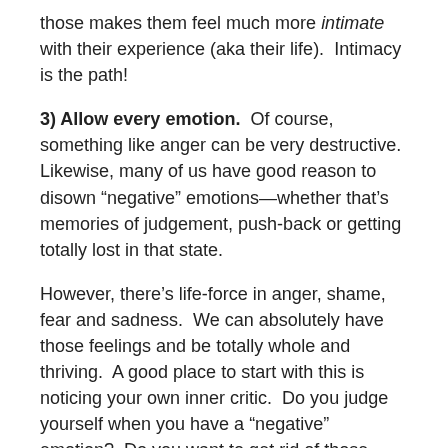those makes them feel much more intimate with their experience (aka their life).  Intimacy is the path!
3) Allow every emotion.  Of course, something like anger can be very destructive.  Likewise, many of us have good reason to disown “negative” emotions—whether that’s memories of judgement, push-back or getting totally lost in that state.
However, there’s life-force in anger, shame, fear and sadness.  We can absolutely have those feelings and be totally whole and thriving.  A good place to start with this is noticing your own inner critic.  Do you judge yourself when you have a “negative” emotion?  Do you want to get rid of those feelings?  What exactly does that inner voice say?
Basically, have that spirit of welcoming with even